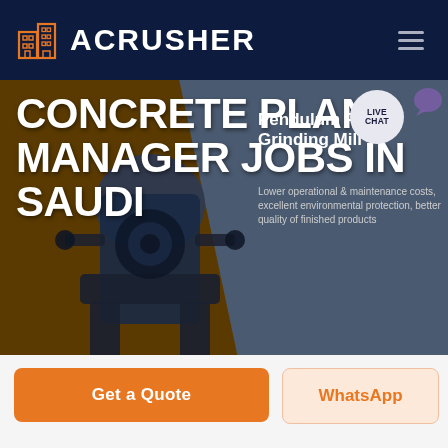ACRUSHER
CONCRETE PLANT MANAGER JOBS IN SAUDI
Pendulum Roller Grinding Mill
Lower operational & maintenance costs, excellent environmental protection, better quality of finished products
LIVE CHAT
HOME / PRODUCTS
Get a Quote
WhatsApp